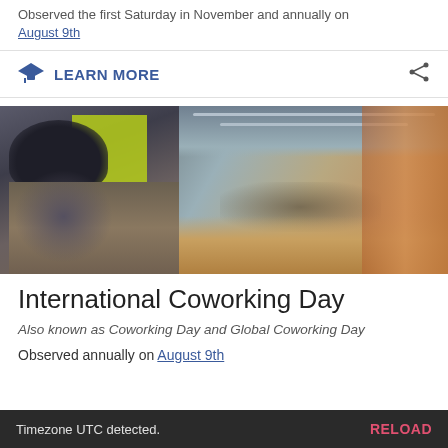Observed the first Saturday in November and annually on August 9th
LEARN MORE
[Figure (photo): Photo of a person in a beanie hat working at a desk on the left, and an open coworking office space with people on the right]
International Coworking Day
Also known as Coworking Day and Global Coworking Day
Observed annually on August 9th
Timezone UTC detected.  RELOAD